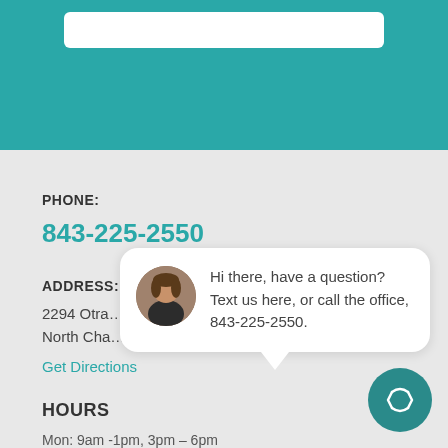[Figure (screenshot): Teal header bar with white search/input box at top]
PHONE:
843-225-2550
ADDRESS:
2294 Otr...
North Cha...
Get Directions
[Figure (screenshot): Chat bubble popup with avatar photo of a woman and text: Hi there, have a question? Text us here, or call the office, 843-225-2550.]
HOURS
Mon: 9am -1pm, 3pm – 6pm